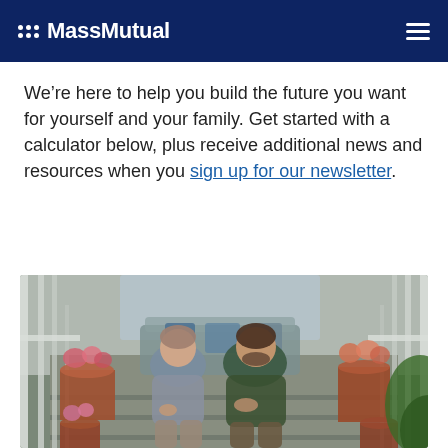MassMutual
We’re here to help you build the future you want for yourself and your family. Get started with a calculator below, plus receive additional news and resources when you sign up for our newsletter.
[Figure (photo): A couple sitting together on porch steps of a house, surrounded by potted plants and flowers. The woman is on the left wearing a gray outfit; the man is on the right wearing a plaid shirt. The background shows white porch railings, greenery, and the exterior of a house.]